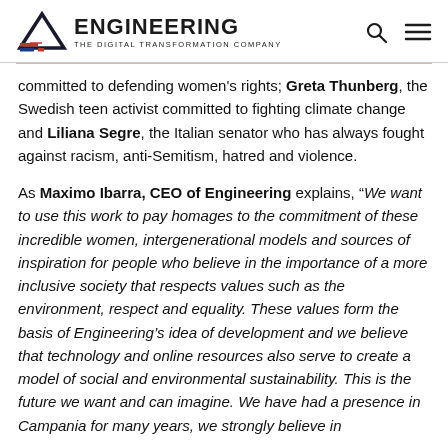ENGINEERING THE DIGITAL TRANSFORMATION COMPANY
committed to defending women's rights; Greta Thunberg, the Swedish teen activist committed to fighting climate change and Liliana Segre, the Italian senator who has always fought against racism, anti-Semitism, hatred and violence.
As Maximo Ibarra, CEO of Engineering explains, “We want to use this work to pay homages to the commitment of these incredible women, intergenerational models and sources of inspiration for people who believe in the importance of a more inclusive society that respects values such as the environment, respect and equality. These values form the basis of Engineering’s idea of development and we believe that technology and online resources also serve to create a model of social and environmental sustainability. This is the future we want and can imagine. We have had a presence in Campania for many years, we strongly believe in